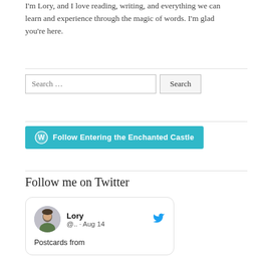I'm Lory, and I love reading, writing, and everything we can learn and experience through the magic of words. I'm glad you're here.
[Figure (other): Search bar with text input labeled 'Search ...' and a 'Search' button]
[Figure (other): Cyan/teal button with WordPress icon and text 'Follow Entering the Enchanted Castle']
Follow me on Twitter
[Figure (other): Twitter/tweet card showing user Lory (@.. · Aug 14) with avatar and tweet text 'Postcards from...']